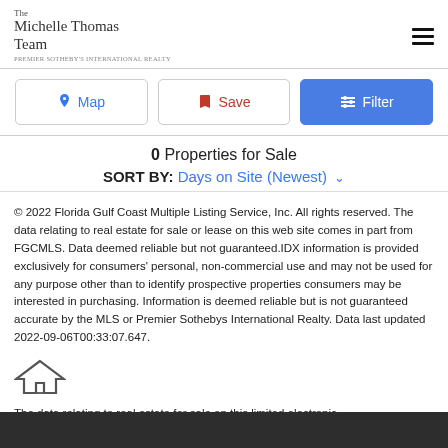The Michelle Thomas Team
PREMIER SOTHEBY'S INTERNATIONAL REALTY
Map | Save | Filter
0 Properties for Sale
SORT BY: Days on Site (Newest)
© 2022 Florida Gulf Coast Multiple Listing Service, Inc. All rights reserved. The data relating to real estate for sale or lease on this web site comes in part from FGCMLS. Data deemed reliable but not guaranteed.IDX information is provided exclusively for consumers' personal, non-commercial use and may not be used for any purpose other than to identify prospective properties consumers may be interested in purchasing. Information is deemed reliable but is not guaranteed accurate by the MLS or Premier Sothebys International Realty. Data last updated 2022-09-06T00:33:07.647.
The data relating to real estate for sale on this limited electronic